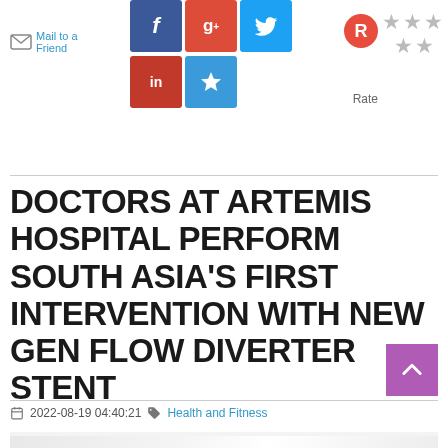[Figure (screenshot): Social sharing buttons (Facebook, Google+, Twitter, LinkedIn, Bookmark) and Mail to a Friend link, plus a Rate section with R circle and 5 stars]
DOCTORS AT ARTEMIS HOSPITAL PERFORM SOUTH ASIA'S FIRST INTERVENTION WITH NEW GEN FLOW DIVERTER STENT
2022-08-19 04:40:21   Health and Fitness
[Figure (photo): Partial photo of what appears to be a medical or hospital interior setting, visible at bottom of page]